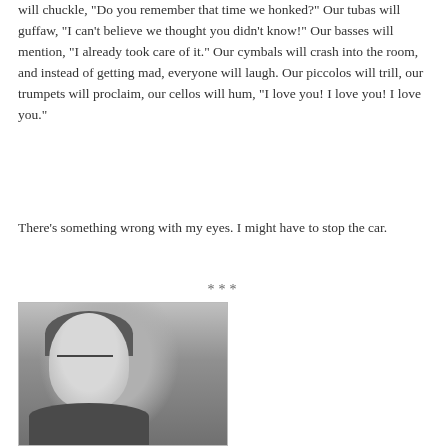will chuckle, "Do you remember that time we honked?" Our tubas will guffaw, "I can't believe we thought you didn't know!" Our basses will mention, "I already took care of it." Our cymbals will crash into the room, and instead of getting mad, everyone will laugh. Our piccolos will trill, our trumpets will proclaim, our cellos will hum, "I love you! I love you! I love you."
There's something wrong with my eyes. I might have to stop the car.
***
[Figure (photo): Black and white portrait photograph of a woman with short dark hair and glasses, wearing a dark top, standing in front of architectural columns and a dark doorway.]